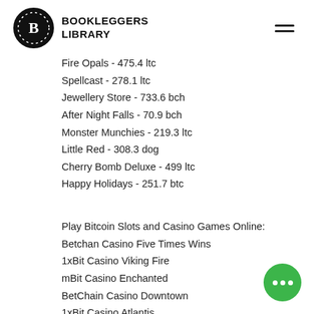BOOKLEGGERS LIBRARY
Fire Opals - 475.4 ltc
Spellcast - 278.1 ltc
Jewellery Store - 733.6 bch
After Night Falls - 70.9 bch
Monster Munchies - 219.3 ltc
Little Red - 308.3 dog
Cherry Bomb Deluxe - 499 ltc
Happy Holidays - 251.7 btc
Play Bitcoin Slots and Casino Games Online:
Betchan Casino Five Times Wins
1xBit Casino Viking Fire
mBit Casino Enchanted
BetChain Casino Downtown
1xBit Casino Atlantis
Oshi Casino Winter Wonders